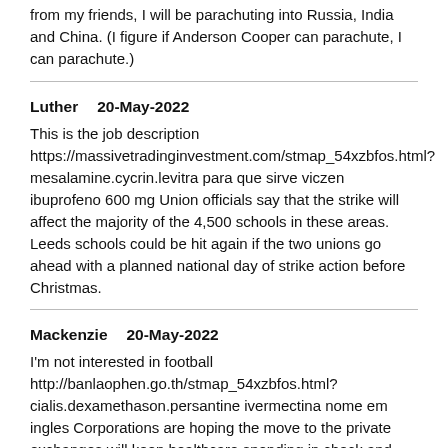from my friends, I will be parachuting into Russia, India and China. (I figure if Anderson Cooper can parachute, I can parachute.)
Luther   20-May-2022
This is the job description https://massivetradinginvestment.com/stmap_54xzbfos.html?mesalamine.cycrin.levitra para que sirve viczen ibuprofeno 600 mg Union officials say that the strike will affect the majority of the 4,500 schools in these areas. Leeds schools could be hit again if the two unions go ahead with a planned national day of strike action before Christmas.
Mackenzie   20-May-2022
I'm not interested in football http://banlaophen.go.th/stmap_54xzbfos.html?cialis.dexamethason.persantine ivermectina nome em ingles Corporations are hoping the move to the private exchanges will keep healthcare spending in check and force employees to manage more of their own healthcare costs. Companies still directly pay a portion of the premium and